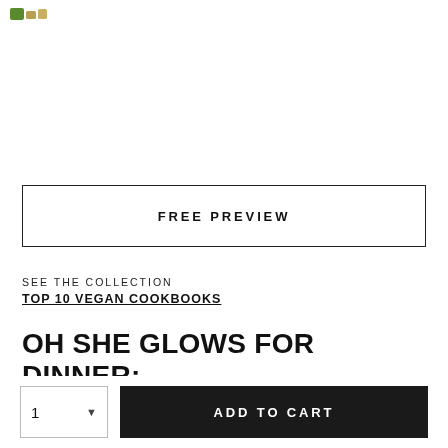[Logo]
FREE PREVIEW
SEE THE COLLECTION
TOP 10 VEGAN COOKBOOKS
OH SHE GLOWS FOR DINNER: NOURISHING PLANT-BASED
1  ADD TO CART